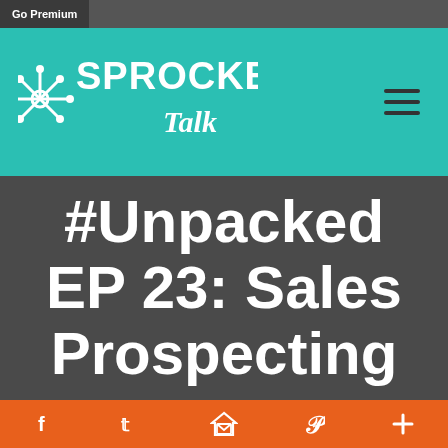Go Premium
[Figure (logo): Sprocket Talk logo in white on teal background with hamburger menu icon]
#Unpacked EP 23: Sales Prospecting
Social share bar with Facebook, Twitter, email, Pinterest, and plus icons